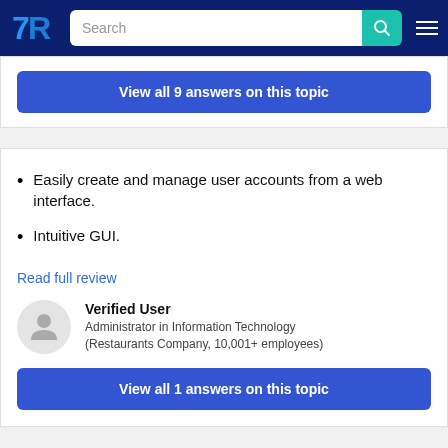TrustRadius search header
View all 9 answers on this topic
Easily create and manage user accounts from a web interface.
Intuitive GUI.
Read full review
Verified User
Administrator in Information Technology (Restaurants Company, 10,001+ employees)
View all 1 answers on this topic